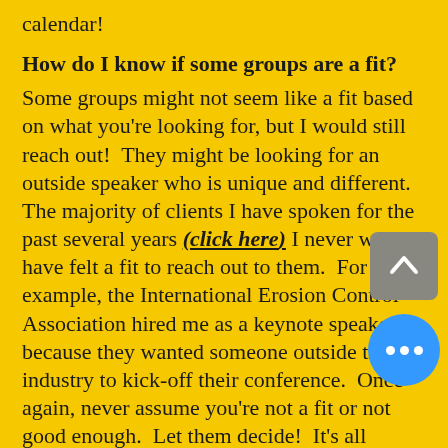calendar!
How do I know if some groups are a fit?
Some groups might not seem like a fit based on what you're looking for, but I would still reach out!  They might be looking for an outside speaker who is unique and different.  The majority of clients I have spoken for the past several years (click here) I never would have felt a fit to reach out to them.  For example, the International Erosion Control Association hired me as a keynote speaker because they wanted someone outside their industry to kick-off their conference.  Once again, never assume you're not a fit or not good enough.  Let them decide!  It's all